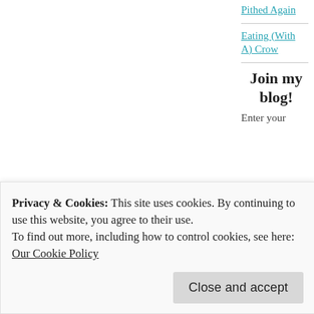Pithed Again
Eating (With A) Crow
Join my blog!
Enter your
Privacy & Cookies: This site uses cookies. By continuing to use this website, you agree to their use.
To find out more, including how to control cookies, see here: Our Cookie Policy
Close and accept